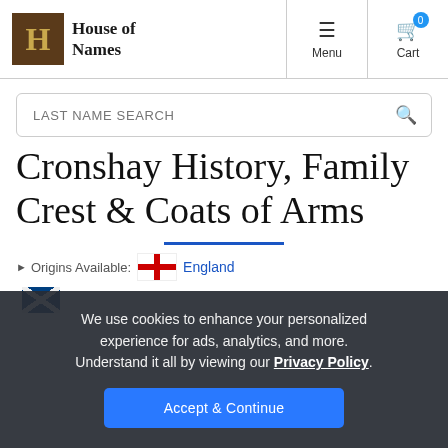House of Names — Menu | Cart
LAST NAME SEARCH
Cronshay History, Family Crest & Coats of Arms
Origins Available: England
We use cookies to enhance your personalized experience for ads, analytics, and more. Understand it all by viewing our Privacy Policy.
Accept & Continue